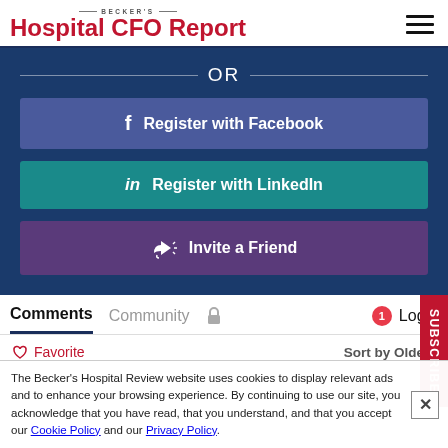BECKER'S Hospital CFO Report
OR
f  Register with Facebook
in  Register with LinkedIn
Invite a Friend
Comments  Community  🔒  1  Login
♡ Favorite   Sort by Oldest
SUBSCRIBE
The Becker's Hospital Review website uses cookies to display relevant ads and to enhance your browsing experience. By continuing to use our site, you acknowledge that you have read, that you understand, and that you accept our Cookie Policy and our Privacy Policy.